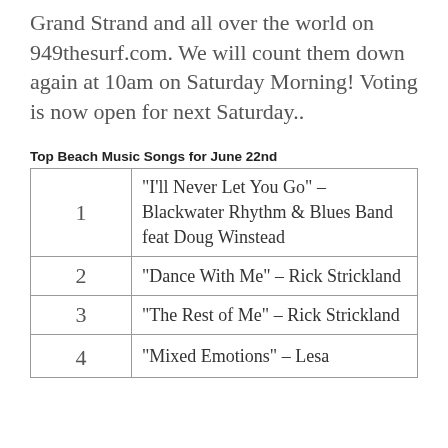Grand Strand and all over the world on 949thesurf.com. We will count them down again at 10am on Saturday Morning! Voting is now open for next Saturday..
Top Beach Music Songs for June 22nd
| # | Song |
| --- | --- |
| 1 | “I’ll Never Let You Go” – Blackwater Rhythm & Blues Band feat Doug Winstead |
| 2 | “Dance With Me” – Rick Strickland |
| 3 | “The Rest of Me” – Rick Strickland |
| 4 | “Mixed Emotions” – Lesa |